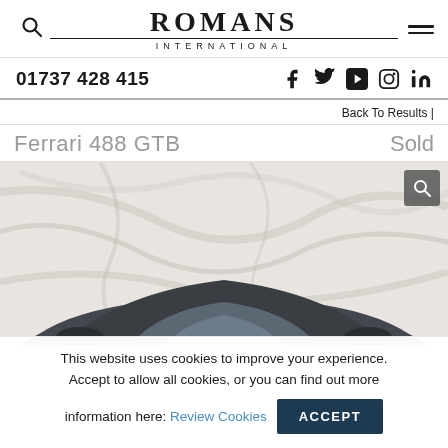[Figure (logo): Romans International logo with search icon and hamburger menu]
01737 428 415
[Figure (infographic): Social media icons: Facebook, Twitter, YouTube, Instagram, LinkedIn]
Back To Results |
Ferrari 488 GTB
Sold
[Figure (photo): Ferrari 488 GTB car photographed against a white marble background, showing the roof and windscreen of a dark grey vehicle]
This website uses cookies to improve your experience. Accept to allow all cookies, or you can find out more information here: Review Cookies